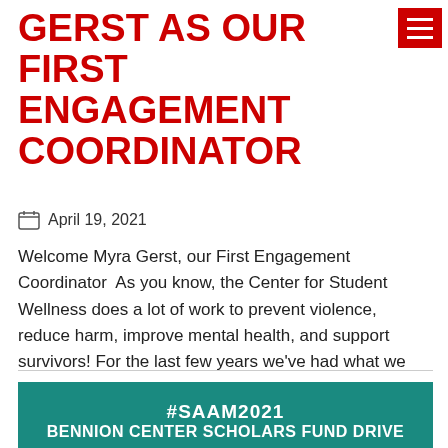GERST AS OUR FIRST ENGAGEMENT COORDINATOR
April 19, 2021
Welcome Myra Gerst, our First Engagement Coordinator  As you know, the Center for Student Wellness does a lot of work to prevent violence, reduce harm, improve mental health, and support survivors! For the last few years we've had what we call, a dream baby, to further this mission more intentionally by engaging with and working alongside men and male-identified students on our [...]
#SAAM2021 BENNION CENTER SCHOLARS FUND DRIVE